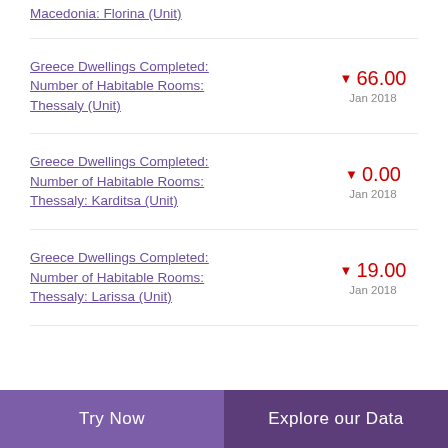Macedonia: Florina (Unit)
Greece Dwellings Completed: Number of Habitable Rooms: Thessaly (Unit) ▼ 66.00 Jan 2018
Greece Dwellings Completed: Number of Habitable Rooms: Thessaly: Karditsa (Unit) ▼ 0.00 Jan 2018
Greece Dwellings Completed: Number of Habitable Rooms: Thessaly: Larissa (Unit) ▼ 19.00 Jan 2018
Try Now   Explore our Data